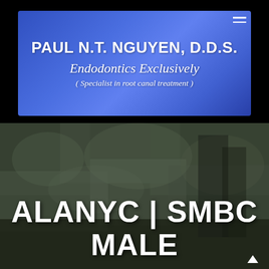[Figure (logo): Blue gradient banner with dental practice name and specialty: PAUL N.T. NGUYEN, D.D.S., Endodontics Exclusively, (Specialist in root canal treatment)]
PAUL N.T. NGUYEN, D.D.S.
Endodontics Exclusively
( Specialist in root canal treatment )
[Figure (photo): Blurred dark background photo of dental office or nature scene, with large white text overlay reading 'ALANYC | SMBC' and 'MALE']
ALANYC | SMBC
MALE